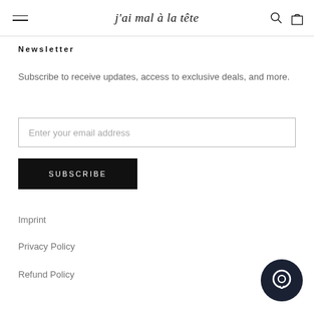j'ai mal à la tête
Newsletter
Subscribe to receive updates, access to exclusive deals, and more.
Enter your email address
SUBSCRIBE
Imprint
Privacy Policy
Refund Policy
[Figure (other): Chat button circle icon in dark navy]